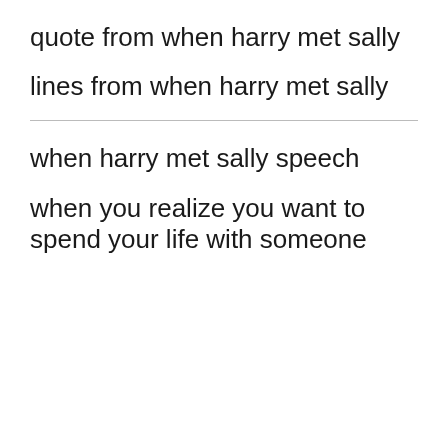quote from when harry met sally
lines from when harry met sally
when harry met sally speech
when you realize you want to spend your life with someone